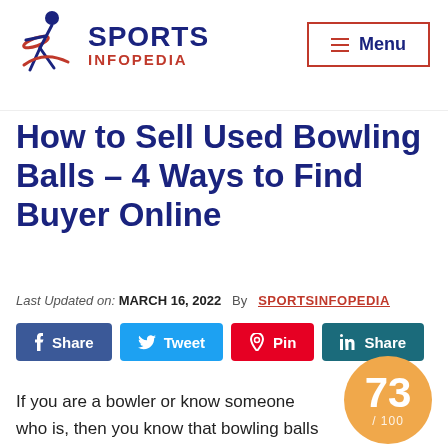Sports Infopedia — Menu
How to Sell Used Bowling Balls – 4 Ways to Find Buyer Online
Last Updated on: MARCH 16, 2022  By  SPORTSINFOPEDIA
Share  Tweet  Pin  Share
If you are a bowler or know someone who is, then you know that bowling balls can be quite expensive. But did